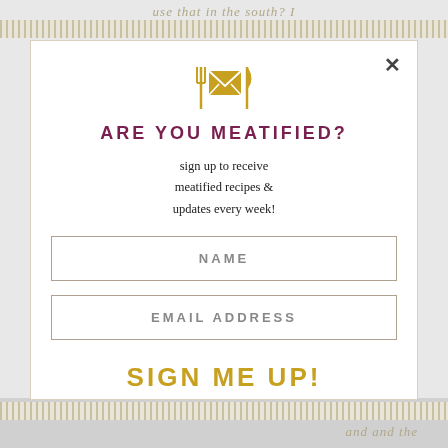use that in the south? I
[Figure (illustration): Email envelope icon flanked by fork and knife utensils in gold/yellow color]
ARE YOU MEATIFIED?
sign up to receive meatified recipes & updates every week!
NAME
EMAIL ADDRESS
SIGN ME UP!
and and the